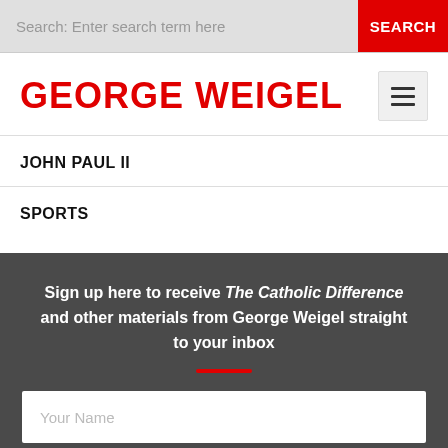Search: Enter search term here  SEARCH
GEORGE WEIGEL
JOHN PAUL II
SPORTS
Sign up here to receive The Catholic Difference and other materials from George Weigel straight to your inbox
Your Name